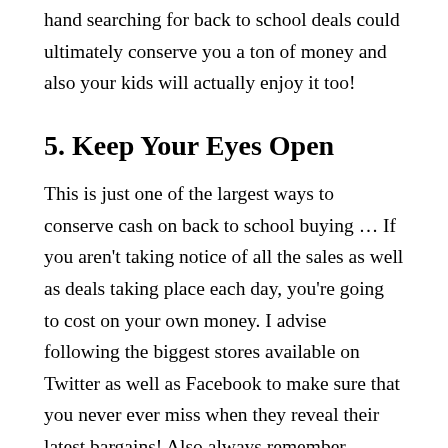hand searching for back to school deals could ultimately conserve you a ton of money and also your kids will actually enjoy it too!
5. Keep Your Eyes Open
This is just one of the largest ways to conserve cash on back to school buying … If you aren't taking notice of all the sales as well as deals taking place each day, you're going to cost on your own money. I advise following the biggest stores available on Twitter as well as Facebook to make sure that you never ever miss when they reveal their latest bargains! Also always remember